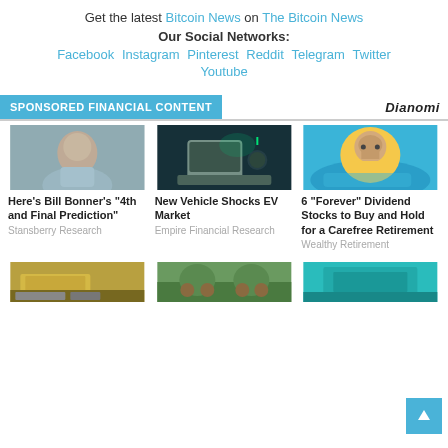Get the latest Bitcoin News on The Bitcoin News
Our Social Networks:
Facebook Instagram Pinterest Reddit Telegram Twitter Youtube
SPONSORED FINANCIAL CONTENT
[Figure (photo): Older man in light blue shirt, portrait photo]
Here's Bill Bonner's "4th and Final Prediction"
Stansberry Research
[Figure (photo): Electric vehicle being charged, green glowing lights]
New Vehicle Shocks EV Market
Empire Financial Research
[Figure (photo): Older man relaxing on yellow inflatable in pool, wearing sunglasses]
6 "Forever" Dividend Stocks to Buy and Hold for a Carefree Retirement
Wealthy Retirement
[Figure (photo): Gold bars and dollar bills]
[Figure (photo): Two people riding bikes in nature]
[Figure (photo): Teal/turquoise building exterior]